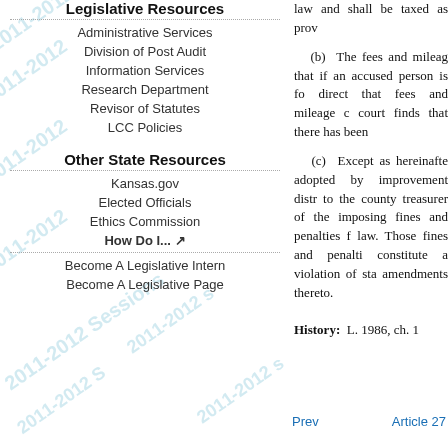Legislative Resources
Administrative Services
Division of Post Audit
Information Services
Research Department
Revisor of Statutes
LCC Policies
Other State Resources
Kansas.gov
Elected Officials
Ethics Commission
How Do I... [external link]
Become A Legislative Intern
Become A Legislative Page
law and shall be taxed as prov
(b) The fees and mileag that if an accused person is fo direct that fees and mileage c court finds that there has been
(c) Except as hereinafte adopted by improvement distr to the county treasurer of the imposing fines and penalties f law. Those fines and penalti constitute a violation of sta amendments thereto.
History: L. 1986, ch. 1
Prev   Article 27